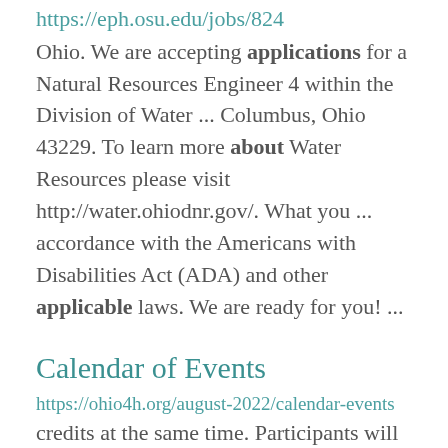https://eph.osu.edu/jobs/824
Ohio. We are accepting applications for a Natural Resources Engineer 4 within the Division of Water ... Columbus, Ohio 43229. To learn more about Water Resources please visit http://water.ohiodnr.gov/. What you ... accordance with the Americans with Disabilities Act (ADA) and other applicable laws. We are ready for you! ...
Calendar of Events
https://ohio4h.org/august-2022/calendar-events
credits at the same time. Participants will learn about OSU Extension's on-farm